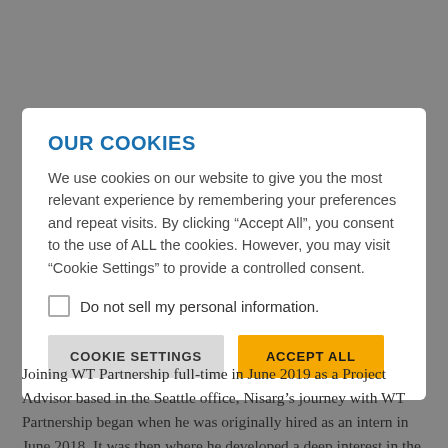OUR COOKIES
We use cookies on our website to give you the most relevant experience by remembering your preferences and repeat visits. By clicking “Accept All”, you consent to the use of ALL the cookies. However, you may visit “Cookie Settings” to provide a controlled consent.
Do not sell my personal information.
COOKIE SETTINGS   ACCEPT ALL
Joining WT Partnership full-time in June 2019 as a Project Advisor based in the Seattle office, Nisarg’s journey with WT Partnership began when he was originally hired as an intern in June 2018. It was then where he developed a deep interest in the cost consulting side of the business.